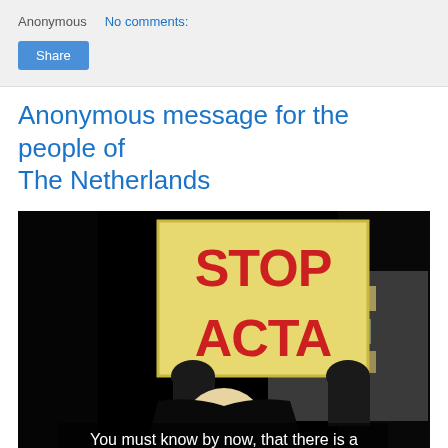Anonymous   No comments:
Share
Anonymous message for the people of The Netherlands
[Figure (photo): A person in a Guy Fawkes mask holding a STOP ACTA sign at a protest, with a subtitle reading 'You must know by now, that there is a' (text cut off)]